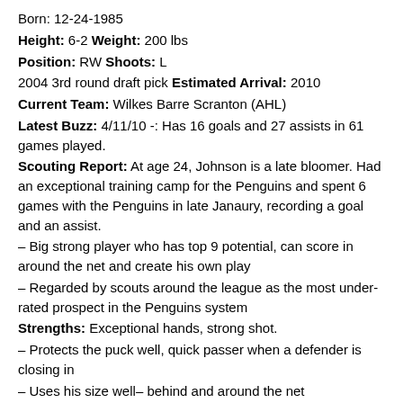Born: 12-24-1985
Height: 6-2 Weight: 200 lbs
Position: RW Shoots: L
2004 3rd round draft pick Estimated Arrival: 2010
Current Team: Wilkes Barre Scranton (AHL)
Latest Buzz: 4/11/10 -: Has 16 goals and 27 assists in 61 games played.
Scouting Report: At age 24, Johnson is a late bloomer. Had an exceptional training camp for the Penguins and spent 6 games with the Penguins in late Janaury, recording a goal and an assist.
– Big strong player who has top 9 potential, can score in around the net and create his own play
– Regarded by scouts around the league as the most under-rated prospect in the Penguins system
Strengths: Exceptional hands, strong shot.
– Protects the puck well, quick passer when a defender is closing in
– Uses his size well– behind and around the net
– Ability to pick corners, snap shot is his biggest asset